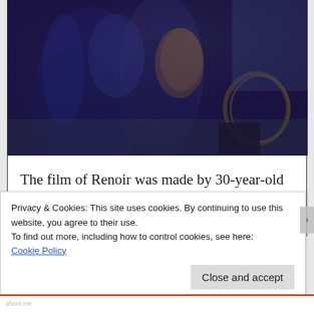[Figure (photo): A cropped portion of a Renoir impressionist painting showing figures in dark blue/navy clothing, one holding a basket, and a child with a hoop, painted in rich blues and earth tones.]
The film of Renoir was made by 30-year-old Sacha Guitry, who appears midway through the film sitting down
Privacy & Cookies: This site uses cookies. By continuing to use this website, you agree to their use.
To find out more, including how to control cookies, see here: Cookie Policy
Close and accept